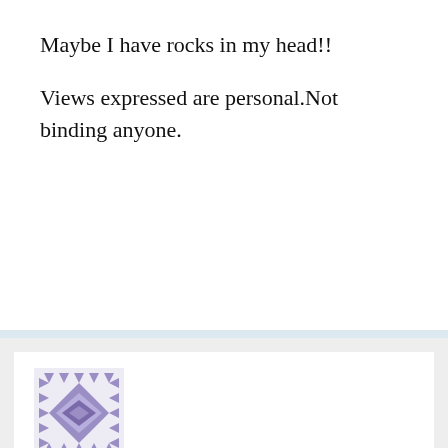Maybe I have rocks in my head!!
Views expressed are personal.Not binding anyone.
[Figure (illustration): Purple geometric avatar with diamond and triangle quilt pattern]
Jahangirfareed | January 19, 2022 at 1:24 am | Reply
Good resarch